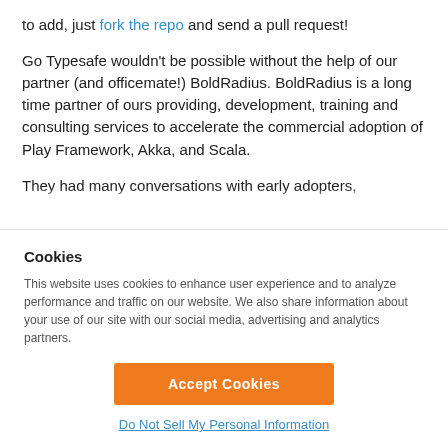to add, just fork the repo and send a pull request!
Go Typesafe wouldn't be possible without the help of our partner (and officemate!) BoldRadius. BoldRadius is a long time partner of ours providing, development, training and consulting services to accelerate the commercial adoption of Play Framework, Akka, and Scala.
They had many conversations with early adopters, evangelists and change agents to better understand the
Cookies
This website uses cookies to enhance user experience and to analyze performance and traffic on our website. We also share information about your use of our site with our social media, advertising and analytics partners.
Accept Cookies
Do Not Sell My Personal Information